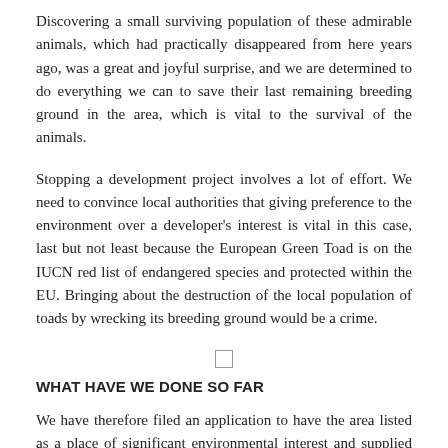Discovering a small surviving population of these admirable animals, which had practically disappeared from here years ago, was a great and joyful surprise, and we are determined to do everything we can to save their last remaining breeding ground in the area, which is vital to the survival of the animals.
Stopping a development project involves a lot of effort. We need to convince local authorities that giving preference to the environment over a developer's interest is vital in this case, last but not least because the European Green Toad is on the IUCN red list of endangered species and protected within the EU. Bringing about the destruction of the local population of toads by wrecking its breeding ground would be a crime.
[Figure (other): Small checkbox/square icon centered on the page]
WHAT HAVE WE DONE SO FAR
We have therefore filed an application to have the area listed as a place of significant environmental interest and supplied authorities with plenty of photos and documents to prove that